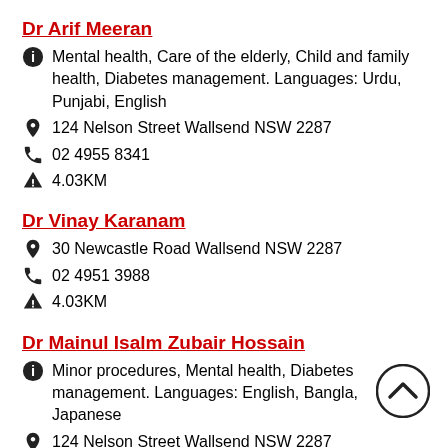Dr Arif Meeran
Mental health, Care of the elderly, Child and family health, Diabetes management. Languages: Urdu, Punjabi, English
124 Nelson Street Wallsend NSW 2287
02 4955 8341
4.03KM
Dr Vinay Karanam
30 Newcastle Road Wallsend NSW 2287
02 4951 3988
4.03KM
Dr Mainul Isalm Zubair Hossain
Minor procedures, Mental health, Diabetes management. Languages: English, Bangla, Japanese
124 Nelson Street Wallsend NSW 2287
02 4955 8341